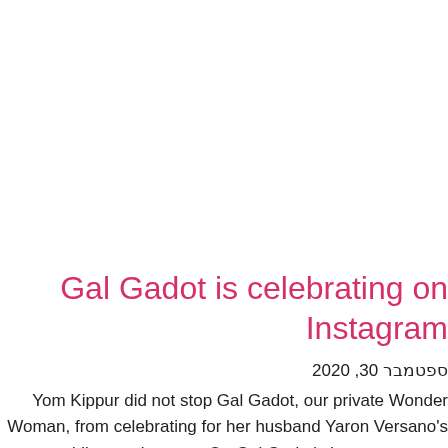Gal Gadot is celebrating on Instagram
ספטמבר 30, 2020
Yom Kippur did not stop Gal Gadot, our private Wonder Woman, from celebrating for her husband Yaron Versano's wedding anniversary. On Gal Gadot's Instagram page,